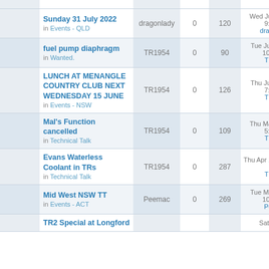|  |  | Topic | Author | Replies | Views | Last post |
| --- | --- | --- | --- | --- | --- | --- |
|  |  | Sunday 31 July 2022 in Events - QLD | dragonlady | 0 | 120 | Wed Jun 29, 2022 9:33 am dragonlady |
|  |  | fuel pump diaphragm in Wanted. | TR1954 | 0 | 90 | Tue Jun 21, 2022 10:37 pm TR1954 |
|  |  | LUNCH AT MENANGLE COUNTRY CLUB NEXT WEDNESDAY 15 JUNE in Events - NSW | TR1954 | 0 | 126 | Thu Jun 09, 2022 7:16 pm TR1954 |
|  |  | Mal's Function cancelled in Technical Talk | TR1954 | 0 | 109 | Thu May 12, 2022 5:45 pm TR1954 |
|  |  | Evans Waterless Coolant in TRs in Technical Talk | TR1954 | 0 | 287 | Thu Apr 21, 2022 7:28 pm TR1954 |
|  |  | Mid West NSW TT in Events - ACT | Peemac | 0 | 269 | Tue Mar 08, 2022 10:06 am Peemac |
|  |  | TR2 Special at Longford | TR2... | 0 | ... | Sat Feb 19, 2022 ... |